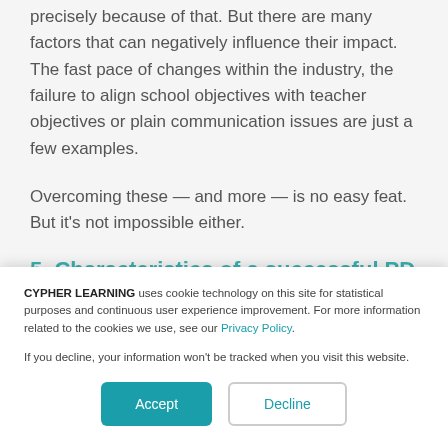precisely because of that. But there are many factors that can negatively influence their impact. The fast pace of changes within the industry, the failure to align school objectives with teacher objectives or plain communication issues are just a few examples.
Overcoming these — and more — is no easy feat. But it's not impossible either.
5. Characteristics of a successful PD...
CYPHER LEARNING uses cookie technology on this site for statistical purposes and continuous user experience improvement. For more information related to the cookies we use, see our Privacy Policy.

If you decline, your information won't be tracked when you visit this website.